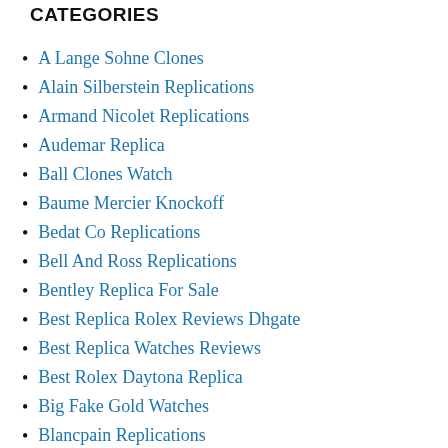CATEGORIES
A Lange Sohne Clones
Alain Silberstein Replications
Armand Nicolet Replications
Audemar Replica
Ball Clones Watch
Baume Mercier Knockoff
Bedat Co Replications
Bell And Ross Replications
Bentley Replica For Sale
Best Replica Rolex Reviews Dhgate
Best Replica Watches Reviews
Best Rolex Daytona Replica
Big Fake Gold Watches
Blancpain Replications
Breguet Replications